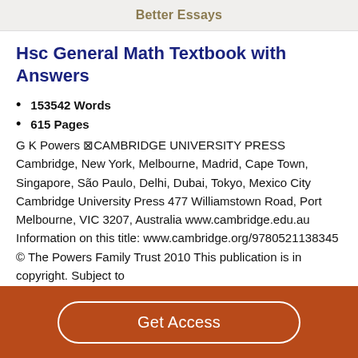Better Essays
Hsc General Math Textbook with Answers
153542 Words
615 Pages
G K Powers ⊠CAMBRIDGE UNIVERSITY PRESS Cambridge, New York, Melbourne, Madrid, Cape Town, Singapore, São Paulo, Delhi, Dubai, Tokyo, Mexico City Cambridge University Press 477 Williamstown Road, Port Melbourne, VIC 3207, Australia www.cambridge.edu.au Information on this title: www.cambridge.org/9780521138345 © The Powers Family Trust 2010 This publication is in copyright. Subject to
Get Access